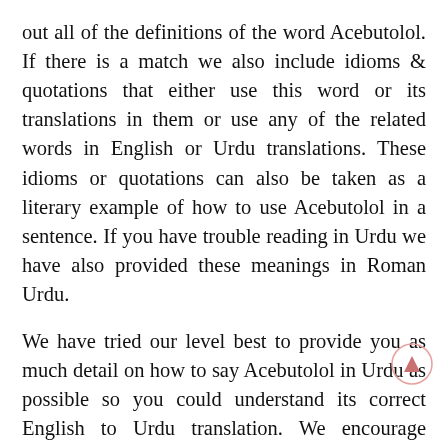out all of the definitions of the word Acebutolol. If there is a match we also include idioms & quotations that either use this word or its translations in them or use any of the related words in English or Urdu translations. These idioms or quotations can also be taken as a literary example of how to use Acebutolol in a sentence. If you have trouble reading in Urdu we have also provided these meanings in Roman Urdu.
We have tried our level best to provide you as much detail on how to say Acebutolol in Urdu as possible so you could understand its correct English to Urdu translation. We encourage everyone to contribute in adding more meanings to MeaningIn Dictionary by adding English to Urdu translations, Urdu to Roman Urdu transliterations and Urdu to English Translations. This will improve our English to Urdu dictionary,